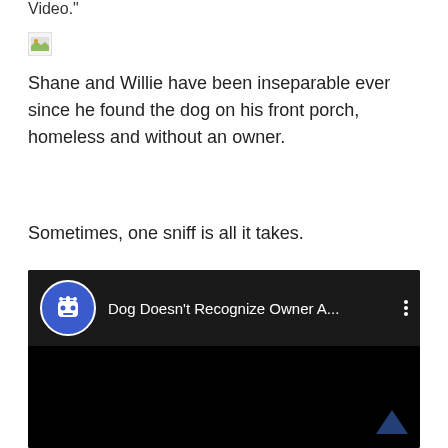Video."
[Figure (illustration): Broken image placeholder icon (small, top-left area)]
Shane and Willie have been inseparable ever since he found the dog on his front porch, homeless and without an owner.
Sometimes, one sniff is all it takes.
[Figure (screenshot): Embedded video widget with black background. Header row shows a blue robot avatar icon, title text 'Dog Doesn't Recognize Owner A...' in white, and a three-dot menu icon. Below is a black video area with a dark chevron/arrow up icon in the bottom right corner.]